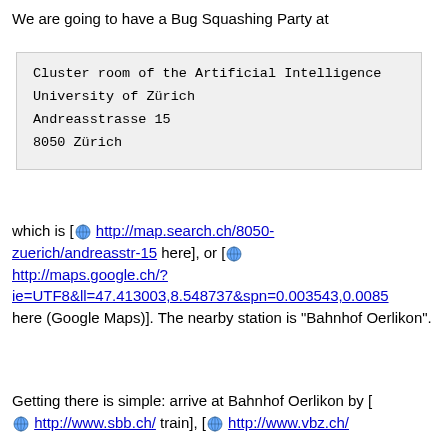We are going to have a Bug Squashing Party at
Cluster room of the Artificial Intelligence
University of Zürich
Andreasstrasse 15
8050 Zürich
which is [ http://map.search.ch/8050-zuerich/andreasstr-15 here], or [ http://maps.google.ch/?ie=UTF8&ll=47.413003,8.548737&spn=0.003543,0.0085 here (Google Maps)]. The nearby station is "Bahnhof Oerlikon".
Getting there is simple: arrive at Bahnhof Oerlikon by [ http://www.sbb.ch/ train], [ http://www.vbz.ch/